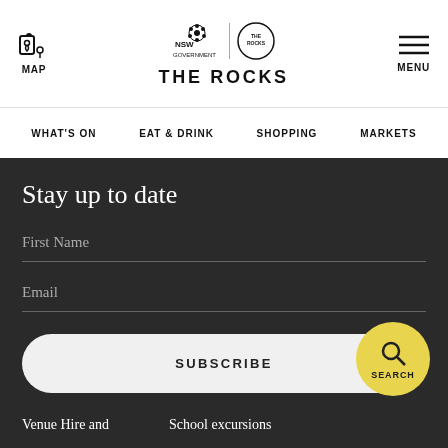MAP | NSW GOVERNMENT THE ROCKS | THE ROCKS | MENU
WHAT'S ON | EAT & DRINK | SHOPPING | MARKETS
Stay up to date
First Name
Email
SUBSCRIBE
SEARCH
Venue Hire and
School excursions